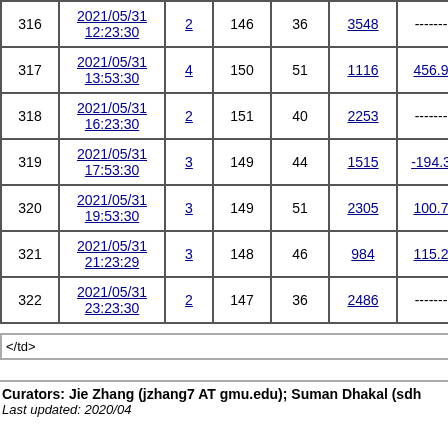|  | Date | Link | Val1 | Val2 | Link2 | Val3 |
| --- | --- | --- | --- | --- | --- | --- |
| 316 | 2021/05/31 12:23:30 | 2 | 146 | 36 | 3548 | ------- |
| 317 | 2021/05/31 13:53:30 | 4 | 150 | 51 | 1116 | 456.9 |
| 318 | 2021/05/31 16:23:30 | 2 | 151 | 40 | 2253 | ------- |
| 319 | 2021/05/31 17:53:30 | 3 | 149 | 44 | 1515 | -194.3 |
| 320 | 2021/05/31 19:53:30 | 3 | 149 | 51 | 2305 | 100.7 |
| 321 | 2021/05/31 21:23:29 | 3 | 148 | 46 | 984 | 115.2 |
| 322 | 2021/05/31 23:23:30 | 2 | 147 | 36 | 2486 | ------- |
</td>
Curators: Jie Zhang (jzhang7 AT gmu.edu); Suman Dhakal (sdh
Last updated: 2020/04